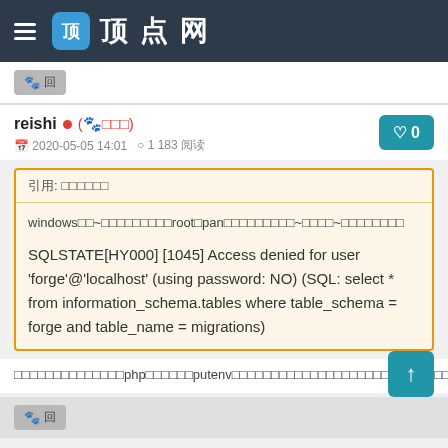顶点网
reishi • (🐾□□□) 2020-05-05 14:01 ○ 1 183 阅读
引用: □□□□□□
windows□□~□□□□□□□□□root□pan□□□□□□□□□~□□□□~□□□□□□□□
SQLSTATE[HY000] [1045] Access denied for user 'forge'@'localhost' (using password: NO) (SQL: select * from information_schema.tables where table_schema = forge and table_name = migrations)
□□□□□□□□□□□□□□php□□□□□□putenv□□□□□□□□□□□□□□□□□□□□□php□□□□□□□□□□APPkey□□□□□base64□□□□□SSH□□□□